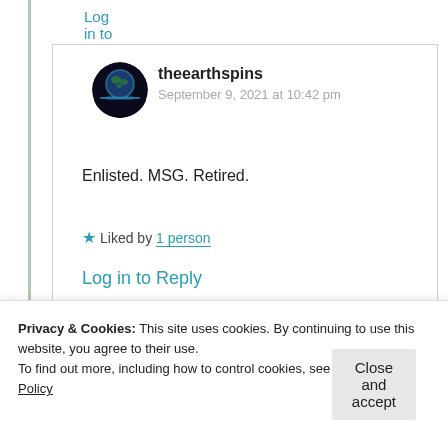Log in to Reply
[Figure (illustration): Circular avatar showing a globe/earth image with dark sky background]
theearthspins
September 9, 2021 at 10:42 pm
Enlisted. MSG. Retired.
★ Liked by 1 person
Log in to Reply
Privacy & Cookies: This site uses cookies. By continuing to use this website, you agree to their use.
To find out more, including how to control cookies, see here: Cookie Policy
Close and accept